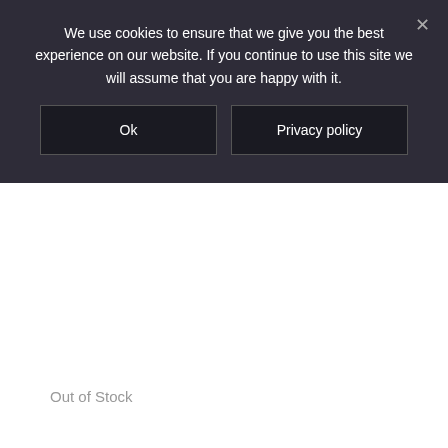We use cookies to ensure that we give you the best experience on our website. If you continue to use this site we will assume that you are happy with it.
Ok
Privacy policy
Out of Stock